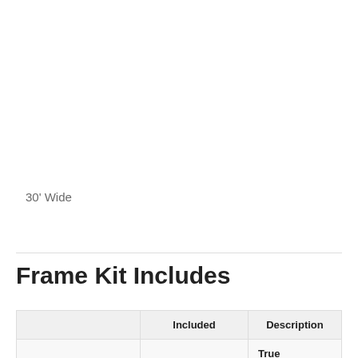30' Wide
Frame Kit Includes
|  | Included | Description |
| --- | --- | --- |
|  |  | True commercial quality! All galvanized steel construction. |